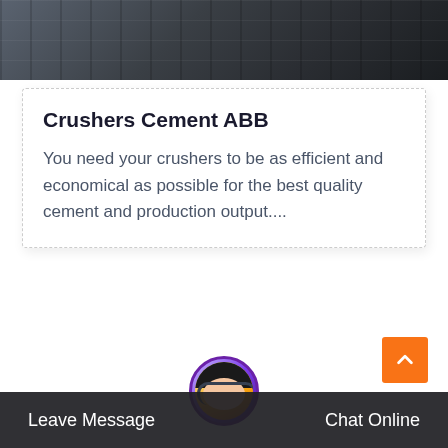[Figure (photo): Top portion of industrial/engineering facility photo showing dark machinery and equipment]
Crushers Cement ABB
You need your crushers to be as efficient and economical as possible for the best quality cement and production output....
[Figure (photo): Industrial cement plant photo showing silos, towers, pipes and industrial equipment in gray tones]
Leave Message  Chat Online